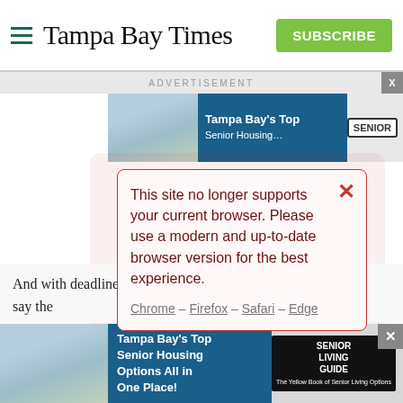Tampa Bay Times — SUBSCRIBE
ADVERTISEMENT
[Figure (screenshot): Tampa Bay's Top Senior Housing advertisement banner with photo of elderly couple on bicycles and SENIOR LIVING GUIDE badge]
This site no longer supports your current browser. Please use a modern and up-to-date browser version for the best experience.

Chrome – Firefox – Safari – Edge
And with deadlines bearing down in a matter of weeks, they say the
[Figure (screenshot): Tampa Bay's Top Senior Housing Options All in One Place! advertisement banner with photo of elderly couple on bicycles and SENIOR LIVING GUIDE badge at bottom of page]